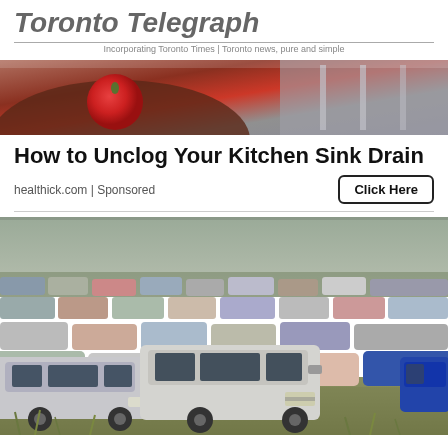Toronto Telegraph — Incorporating Toronto Times | Toronto news, pure and simple
[Figure (photo): Close-up photo of a red tomato or food item in a kitchen sink/bowl, with metallic surfaces visible]
How to Unclog Your Kitchen Sink Drain
healthick.com | Sponsored
[Figure (photo): Large outdoor lot packed with hundreds of cars, SUVs and trucks parked closely together on a grassy field, overcast sky]